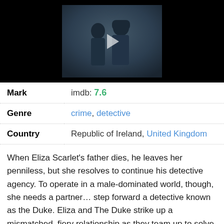[Figure (photo): Movie/TV show still image showing two Victorian-era characters, a bearded man and a woman in period costume, with a play button overlay. Black background surrounds the image frame.]
| Mark | imdb: 7.6 |
| Genre | crime, detective |
| Country | Republic of Ireland, United Kingdom |
When Eliza Scarlet's father dies, he leaves her penniless, but she resolves to continue his detective agency. To operate in a male-dominated world, though, she needs a partner… step forward a detective known as the Duke. Eliza and The Duke strike up a mismatched, fiery relationship as they team up to solve crime in the murkiest depths of 1880's London.